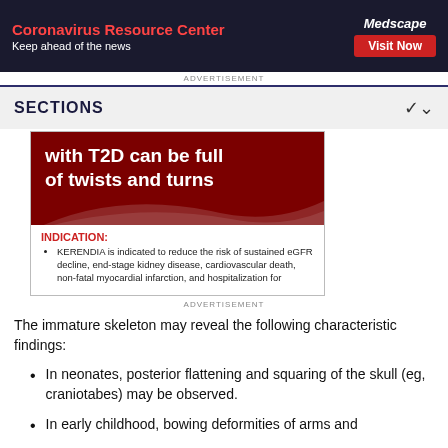[Figure (screenshot): Medscape Coronavirus Resource Center advertisement banner with red title text, white subtitle, Medscape logo, and Visit Now button on dark background]
ADVERTISEMENT
SECTIONS
[Figure (screenshot): Pharmaceutical advertisement showing dark red background with white bold text 'with T2D can be full of twists and turns', wave graphic, and KERENDIA indication text below]
ADVERTISEMENT
The immature skeleton may reveal the following characteristic findings:
In neonates, posterior flattening and squaring of the skull (eg, craniotabes) may be observed.
In early childhood, bowing deformities of arms and